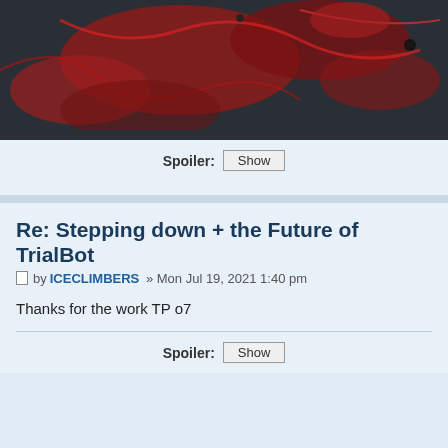[Figure (photo): Abstract dark image with red/dark red patterns on dark gray background, cropped at top]
Spoiler: Show
Re: Stepping down + the Future of TrialBot
by ICECLIMBERS » Mon Jul 19, 2021 1:40 pm
Thanks for the work TP o7
Spoiler: Show